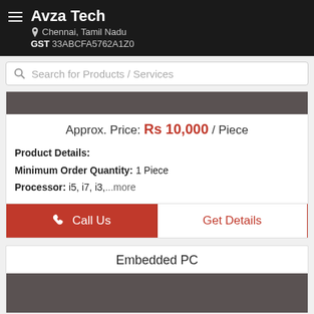Avza Tech | Chennai, Tamil Nadu | GST 33ABCFA5762A1Z0
Search for Products / Services
[Figure (screenshot): Product image thumbnail (dark grey background)]
Approx. Price: Rs 10,000 / Piece
Product Details:
Minimum Order Quantity: 1 Piece
Processor: i5, i7, i3,...more
Call Us
Get Details
Embedded PC
[Figure (photo): Embedded PC product image (dark grey background)]